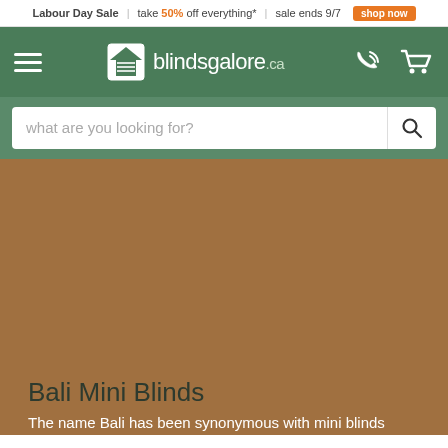Labour Day Sale | take 50% off everything* | sale ends 9/7 | shop now
[Figure (logo): blindsgalore.ca logo with house/blinds icon, hamburger menu, phone icon, and cart icon on green navigation bar]
what are you looking for?
[Figure (photo): Large tan/brown colored product image area showing Bali Mini Blinds]
Bali Mini Blinds
The name Bali has been synonymous with mini blinds